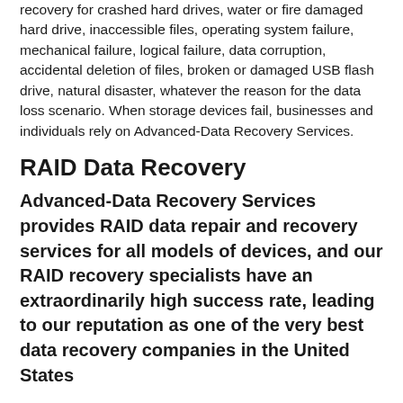recovery for crashed hard drives, water or fire damaged hard drive, inaccessible files, operating system failure, mechanical failure, logical failure, data corruption, accidental deletion of files, broken or damaged USB flash drive, natural disaster, whatever the reason for the data loss scenario. When storage devices fail, businesses and individuals rely on Advanced-Data Recovery Services.
RAID Data Recovery
Advanced-Data Recovery Services provides RAID data repair and recovery services for all models of devices, and our RAID recovery specialists have an extraordinarily high success rate, leading to our reputation as one of the very best data recovery companies in the United States
Our RAID recovery specialists have 10+ years of combined experience with every type RAID configuration from NAS